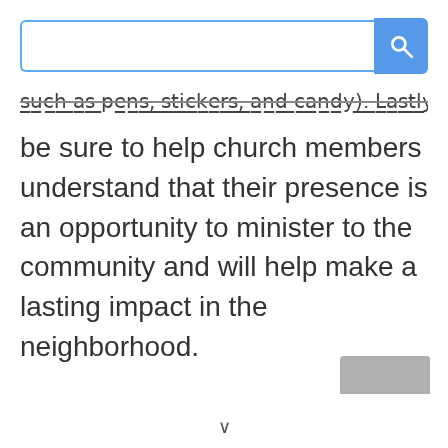[Figure (screenshot): Search bar UI with a text input field with blue border and a blue search button with magnifying glass icon]
such as pens, stickers, and candy). Lastly,
be sure to help church members understand that their presence is an opportunity to minister to the community and will help make a lasting impact in the neighborhood.